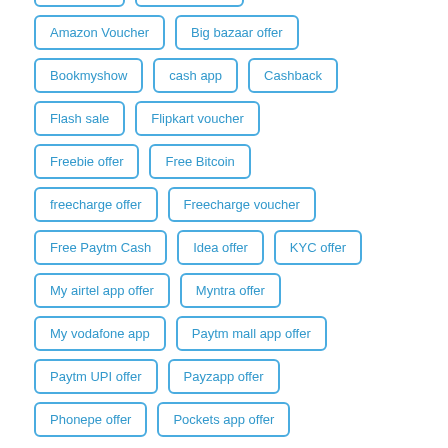Airtel offer
Amazon offer
Amazon Voucher
Big bazaar offer
Bookmyshow
cash app
Cashback
Flash sale
Flipkart voucher
Freebie offer
Free Bitcoin
freecharge offer
Freecharge voucher
Free Paytm Cash
Idea offer
KYC offer
My airtel app offer
Myntra offer
My vodafone app
Paytm mall app offer
Paytm UPI offer
Payzapp offer
Phonepe offer
Pockets app offer